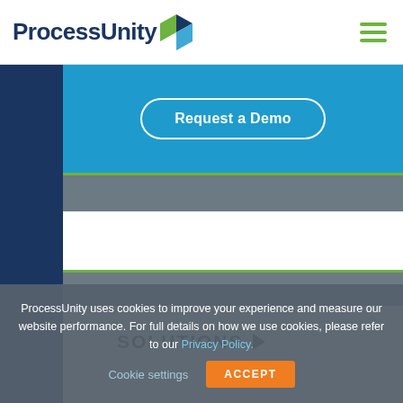ProcessUnity [logo]
Request a Demo
SOLUTIONS ▶
ProcessUnity uses cookies to improve your experience and measure our website performance. For full details on how we use cookies, please refer to our Privacy Policy. Cookie settings ACCEPT